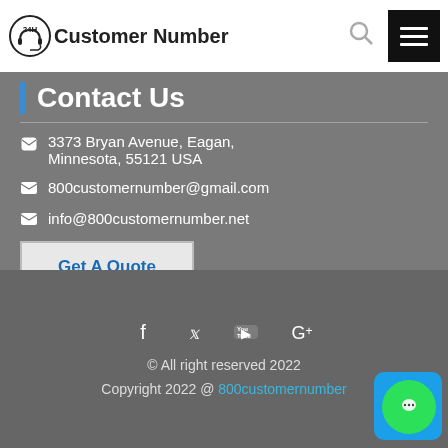24H Customer Number
Contact Us
3373 Bryan Avenue, Eagan, Minnesota, 55121 USA
800customernumber@gmail.com
info@800customernumber.net
Get A Quote
© All right reserved 2022
Copyright 2022 @ 800customernumber